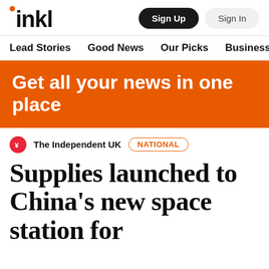inkl  Sign Up  Sign In
Lead Stories  Good News  Our Picks  Business  A
Get all your news in one place
The Independent UK  NATIONAL
Supplies launched to China's new space station for